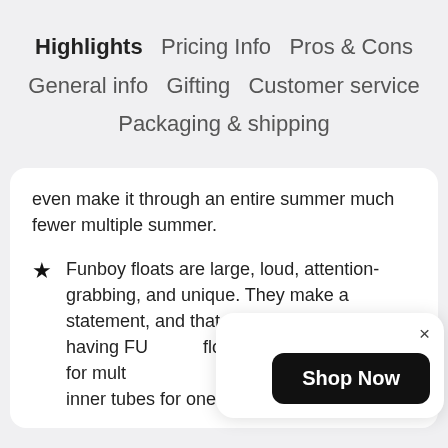Highlights   Pricing Info   Pros & Cons   General info   Gifting   Customer service   Packaging & shipping
even make it through an entire summer much fewer multiple summer.
Funboy floats are large, loud, attention-grabbing, and unique. They make a statement, and that statement is all about having FU... floats. They hav... enough for mult... together, as well as inner tubes for one